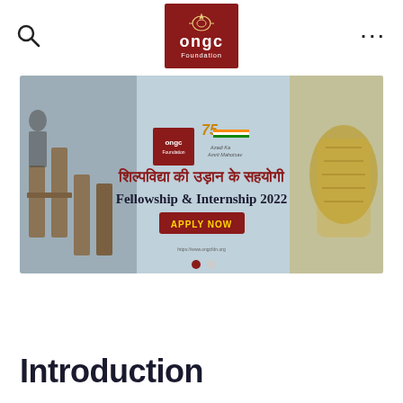ONGC Foundation
[Figure (screenshot): ONGC Foundation Fellowship & Internship 2022 banner with Hindi text 'शिल्पविद्या की उड़ान के सहयोगी' and 'Fellowship & Internship 2022' with an APPLY NOW button, featuring Azadi Ka Amrit Mahotsav logo, and background images of craftwork and artisans.]
Introduction